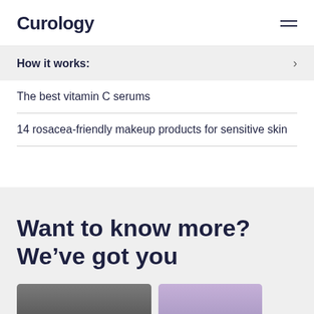Curology
How it works:
The best vitamin C serums
14 rosacea-friendly makeup products for sensitive skin
Want to know more? We've got you
[Figure (photo): Two partial photos of people at the bottom of the page, one showing dark hair on a light background, one showing a face on a purple/lavender background]